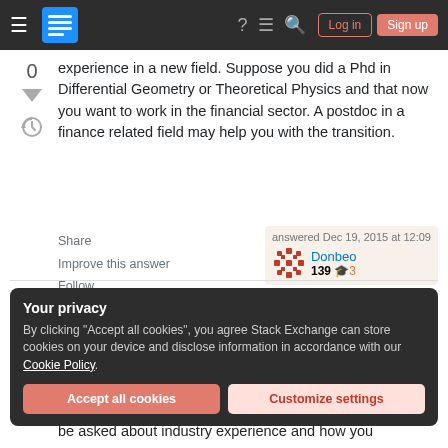[Figure (screenshot): Stack Exchange navigation bar with hamburger menu, logo, icons, Login and Sign up buttons]
experience in a new field. Suppose you did a Phd in Differential Geometry or Theoretical Physics and that now you want to work in the financial sector. A postdoc in a finance related field may help you with the transition.
Share
Improve this answer
Follow
Add a comment
answered Dec 19, 2015 at 12:09
Donbeo
139 🎓3
Your privacy
By clicking "Accept all cookies", you agree Stack Exchange can store cookies on your device and disclose information in accordance with our Cookie Policy.
Accept all cookies  Customize settings
be asked about industry experience and how you